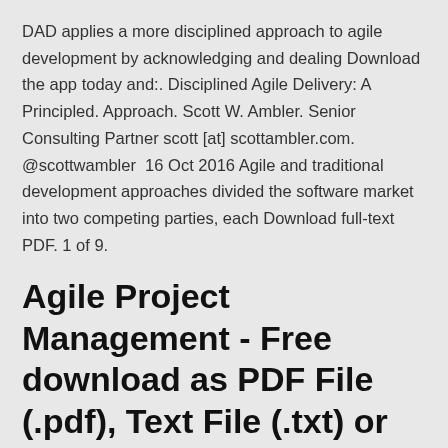DAD applies a more disciplined approach to agile development by acknowledging and dealing Download the app today and:. Disciplined Agile Delivery: A Principled. Approach. Scott W. Ambler. Senior Consulting Partner scott [at] scottambler.com. @scottwambler  16 Oct 2016 Agile and traditional development approaches divided the software market into two competing parties, each Download full-text PDF. 1 of 9.
Agile Project Management - Free download as PDF File (.pdf), Text File (.txt) or read online for free. Agile project management
Read Scott Ambler's new book, Choose Your WoW!: A Disciplined Agile Delivery Handbook for Optimizing Your Way of Working